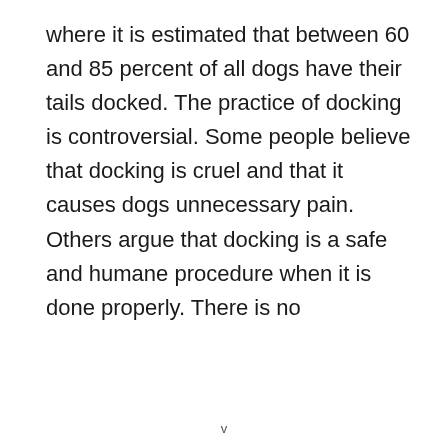where it is estimated that between 60 and 85 percent of all dogs have their tails docked. The practice of docking is controversial. Some people believe that docking is cruel and that it causes dogs unnecessary pain. Others argue that docking is a safe and humane procedure when it is done properly. There is no
v